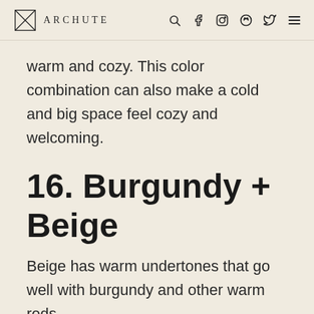ARCHUTE
warm and cozy. This color combination can also make a cold and big space feel cozy and welcoming.
16. Burgundy + Beige
Beige has warm undertones that go well with burgundy and other warm reds.